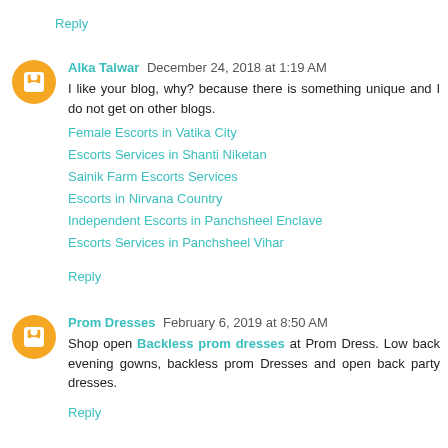Reply
Alka Talwar  December 24, 2018 at 1:19 AM
I like your blog, why? because there is something unique and I do not get on other blogs.
Female Escorts in Vatika City
Escorts Services in Shanti Niketan
Sainik Farm Escorts Services
Escorts in Nirvana Country
Independent Escorts in Panchsheel Enclave
Escorts Services in Panchsheel Vihar
Reply
Prom Dresses  February 6, 2019 at 8:50 AM
Shop open Backless prom dresses at Prom Dress. Low back evening gowns, backless prom Dresses and open back party dresses.
Reply